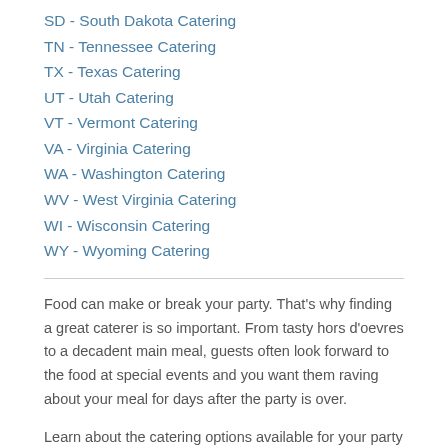SD - South Dakota Catering
TN - Tennessee Catering
TX - Texas Catering
UT - Utah Catering
VT - Vermont Catering
VA - Virginia Catering
WA - Washington Catering
WV - West Virginia Catering
WI - Wisconsin Catering
WY - Wyoming Catering
Food can make or break your party. That’s why finding a great caterer is so important. From tasty hors d’oevres to a decadent main meal, guests often look forward to the food at special events and you want them raving about your meal for days after the party is over.
Learn about the catering options available for your party